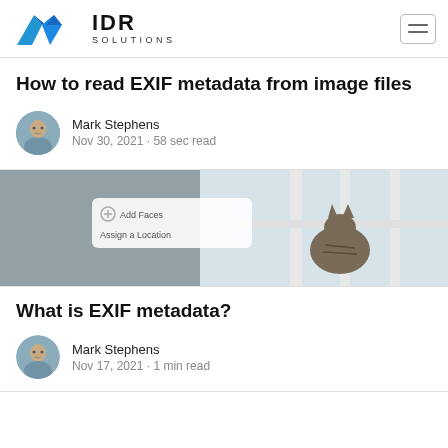IDR Solutions
How to read EXIF metadata from image files
Mark Stephens
Nov 30, 2021 · 58 sec read
[Figure (photo): Photo of a cat sitting at a window, with a mobile UI overlay showing 'Add Faces' and 'Assign a Location' options]
What is EXIF metadata?
Mark Stephens
Nov 17, 2021 · 1 min read